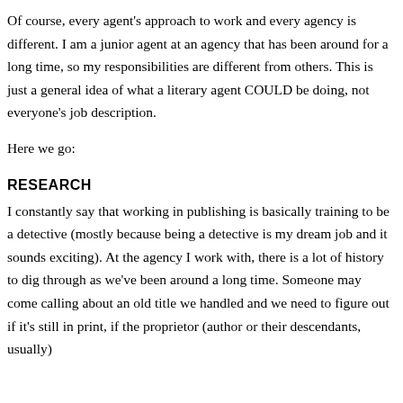Of course, every agent's approach to work and every agency is different. I am a junior agent at an agency that has been around for a long time, so my responsibilities are different from others. This is just a general idea of what a literary agent COULD be doing, not everyone's job description.
Here we go:
RESEARCH
I constantly say that working in publishing is basically training to be a detective (mostly because being a detective is my dream job and it sounds exciting). At the agency I work with, there is a lot of history to dig through as we've been around a long time. Someone may come calling about an old title we handled and we need to figure out if it's still in print, if the proprietor (author or their descendants, usually)